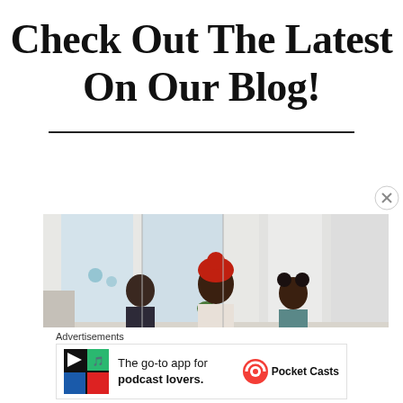Check Out The Latest On Our Blog!
[Figure (photo): A woman with a red head wrap and two children sitting in a bright, airy white room with large windows and light curtains]
Advertisements
[Figure (infographic): Pocket Casts advertisement: The go-to app for podcast lovers. Features Pocket Casts logo and colorful app icon grid.]